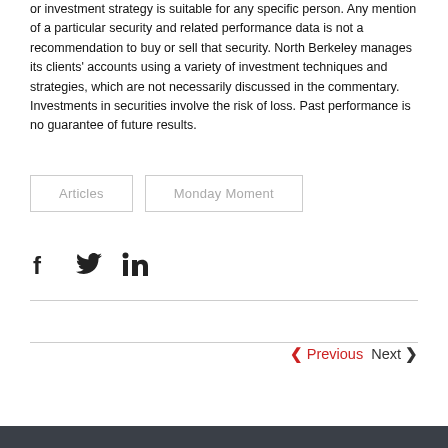or investment strategy is suitable for any specific person. Any mention of a particular security and related performance data is not a recommendation to buy or sell that security. North Berkeley manages its clients' accounts using a variety of investment techniques and strategies, which are not necessarily discussed in the commentary. Investments in securities involve the risk of loss. Past performance is no guarantee of future results.
Articles
Monday Moment
[Figure (other): Social media share icons: Facebook, Twitter, LinkedIn]
Previous   Next